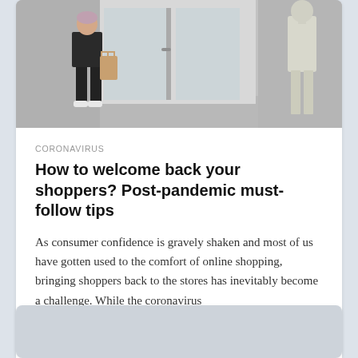[Figure (photo): Retail store entrance with a person carrying a shopping bag on the left and a clothing mannequin on the right. Gray tones, glass doors in background.]
CORONAVIRUS
How to welcome back your shoppers? Post-pandemic must-follow tips
As consumer confidence is gravely shaken and most of us have gotten used to the comfort of online shopping, bringing shoppers back to the stores has inevitably become a challenge. While the coronavirus
5 MIN READ
[Figure (photo): Partially visible bottom card with gray/blue background, cut off at bottom of page.]